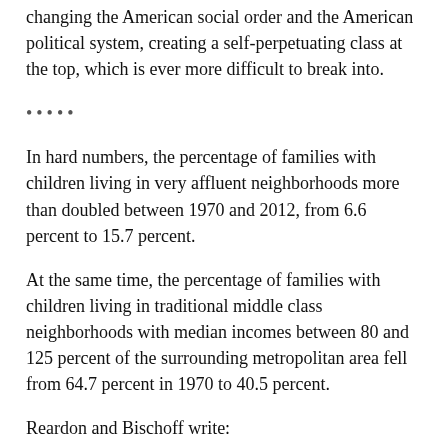changing the American social order and the American political system, creating a self-perpetuating class at the top, which is ever more difficult to break into.
•••••
In hard numbers, the percentage of families with children living in very affluent neighborhoods more than doubled between 1970 and 2012, from 6.6 percent to 15.7 percent.
At the same time, the percentage of families with children living in traditional middle class neighborhoods with median incomes between 80 and 125 percent of the surrounding metropolitan area fell from 64.7 percent in 1970 to 40.5 percent.
Reardon and Bischoff write:
Segregation of affluence not only concentrates income and wealth in a small number of communities, but also concentrates social capital and political power. As a result, any self-interested investment the rich make in their own communities has little chance of failing to benefit